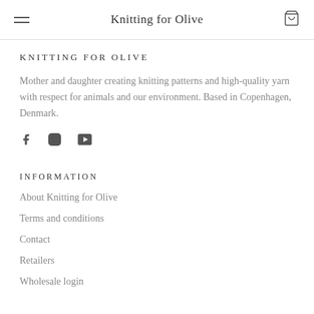Knitting for Olive
KNITTING FOR OLIVE
Mother and daughter creating knitting patterns and high-quality yarn with respect for animals and our environment. Based in Copenhagen, Denmark.
[Figure (infographic): Social media icons: Facebook (f), Instagram (circle with square), YouTube (play button)]
INFORMATION
About Knitting for Olive
Terms and conditions
Contact
Retailers
Wholesale login